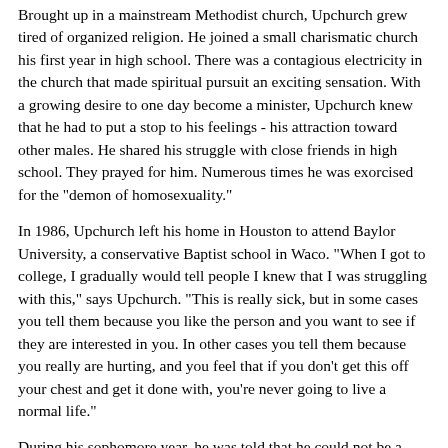Brought up in a mainstream Methodist church, Upchurch grew tired of organized religion. He joined a small charismatic church his first year in high school. There was a contagious electricity in the church that made spiritual pursuit an exciting sensation. With a growing desire to one day become a minister, Upchurch knew that he had to put a stop to his feelings - his attraction toward other males. He shared his struggle with close friends in high school. They prayed for him. Numerous times he was exorcised for the "demon of homosexuality."
In 1986, Upchurch left his home in Houston to attend Baylor University, a conservative Baptist school in Waco. "When I got to college, I gradually would tell people I knew that I was struggling with this," says Upchurch. "This is really sick, but in some cases you tell them because you like the person and you want to see if they are interested in you. In other cases you tell them because you really are hurting, and you feel that if you don't get this off your chest and get it done with, you're never going to live a normal life."
During his sophomore year, he was told that he could not be a leader in his church in Waco unless his homosexual feelings were "dealt with." Upchurch's college minister suggested prayer, reading the Bible and involvement in a weekly group that met in Dallas. The group was affiliated with an organization called Exodus International, the largest of several ministries who claim a "way out" of homosexuality.